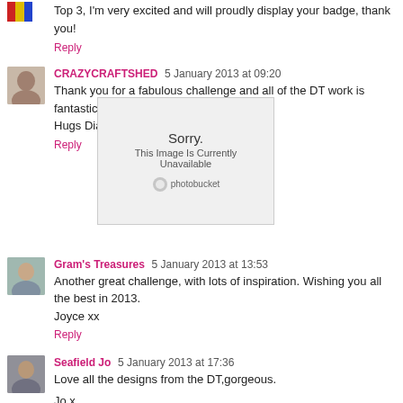Top 3, I'm very excited and will proudly display your badge, thank you!
Reply
CRAZYCRAFTSHED  5 January 2013 at 09:20
Thank you for a fabulous challenge and all of the DT work is fantastic!
Hugs Dianne xx :)
Reply
[Figure (other): Photobucket image unavailable overlay: 'Sorry. This Image Is Currently Unavailable']
Gram's Treasures  5 January 2013 at 13:53
Another great challenge, with lots of inspiration. Wishing you all the best in 2013.
Joyce xx
Reply
Seafield Jo  5 January 2013 at 17:36
Love all the designs from the DT,gorgeous.
Jo x
Reply